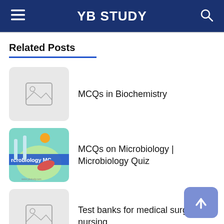YB STUDY
Related Posts
MCQs in Biochemistry
MCQs on Microbiology | Microbiology Quiz
Test banks for medical surgical nursing
Diabetes Quiz Questions and Answers Pdf